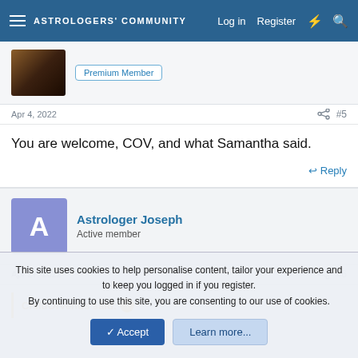ASTROLOGERS' COMMUNITY — Log in  Register
[Figure (other): Dark brown/orange avatar image thumbnail]
Premium Member
Apr 4, 2022   #5
You are welcome, COV, and what Samantha said.
Reply
Astrologer Joseph
Active member
Apr 27, 2022   #6
ChildOfVenus said:
This site uses cookies to help personalise content, tailor your experience and to keep you logged in if you register.
By continuing to use this site, you are consenting to our use of cookies.
Accept   Learn more...